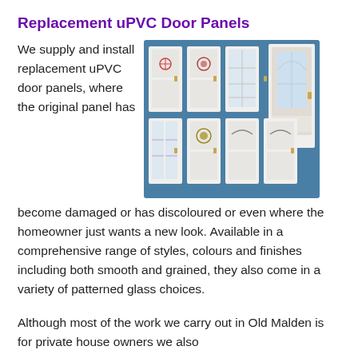Replacement uPVC Door Panels
We supply and install replacement uPVC door panels, where the original panel has become damaged or has discoloured or even where the homeowner just wants a new look. Available in a comprehensive range of styles, colours and finishes including both smooth and grained, they also come in a variety of patterned glass choices.
[Figure (photo): Grid of white uPVC door panel styles shown on a teal/blue background, displaying various decorative designs including panels with glass inserts, decorative motifs, and arch windows.]
Although most of the work we carry out in Old Malden is for private house owners we also